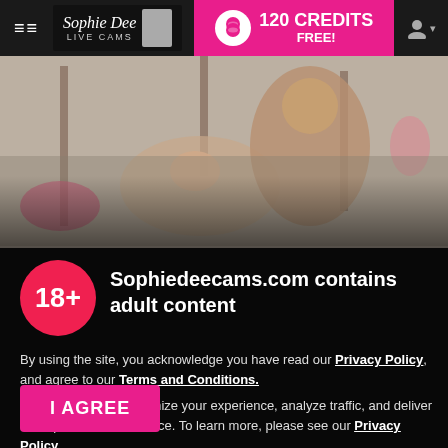Sophie Dee Live Cams — 120 CREDITS FREE!
[Figure (photo): Hero image showing a couple on a bed in an intimate scene]
Sophiedeecams.com contains adult content
By using the site, you acknowledge you have read our Privacy Policy, and agree to our Terms and Conditions.
We use cookies to optimize your experience, analyze traffic, and deliver more personalized service. To learn more, please see our Privacy Policy.
I AGREE